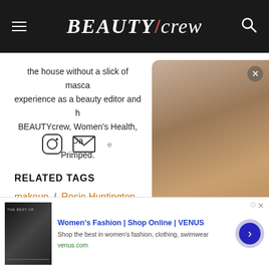BEAUTY/crew
the house without a slick of masca... experience as a beauty editor and h... BEAUTYcrew, Women's Health, Da... Primped.
[Figure (other): Social media icons: Instagram circle icon and envelope/email icon]
RELATED TAGS
makeup / Rosie Huntington-Whi... / makeup how-to / Snapchat / R... / highlighting / radiant skin / ra... / luminous skin
[Figure (other): Blurred video overlay panel on right side with close button (x) and pause button (||)]
[Figure (other): Advertisement banner: Women's Fashion | Shop Online | VENUS. Shop the best in women's fashion, clothing, swimwear. venus.com]